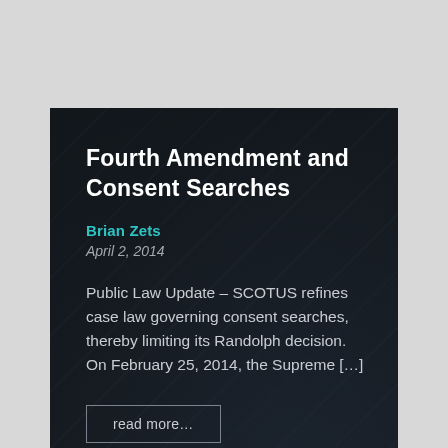Fourth Amendment and Consent Searches
Brian Zets
April 2, 2014
Public Law Update – SCOTUS refines case law governing consent searches, thereby limiting its Randolph decision. On February 25, 2014, the Supreme […]
read more…